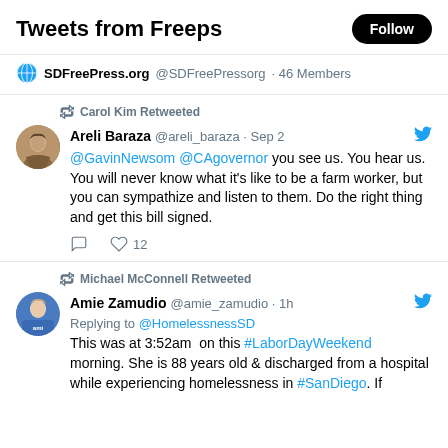Tweets from Freeps
SDFreePress.org @SDFreePressorg · 46 Members
Carol Kim Retweeted
Areli Baraza @areli_baraza · Sep 2 @GavinNewsom @CAgovernor you see us. You hear us. You will never know what it's like to be a farm worker, but you can sympathize and listen to them. Do the right thing and get this bill signed.
12
Michael McConnell Retweeted
Amie Zamudio @amie_zamudio · 1h Replying to @HomelessnessSD This was at 3:52am on this #LaborDayWeekend morning. She is 88 years old & discharged from a hospital while experiencing homelessness in #SanDiego. If